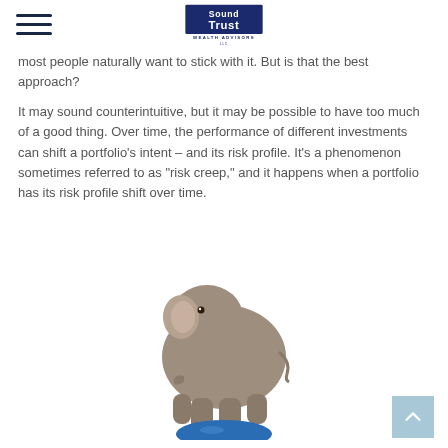Sound Trust Wealth Advisors LLC
most people naturally want to stick with it. But is that the best approach?
It may sound counterintuitive, but it may be possible to have too much of a good thing. Over time, the performance of different investments can shift a portfolio’s intent – and its risk profile. It’s a phenomenon sometimes referred to as “risk creep,” and it happens when a portfolio has its risk profile shift over time.
[Figure (photo): An elephant balancing on a blue ball, symbolizing risk balance in a portfolio]